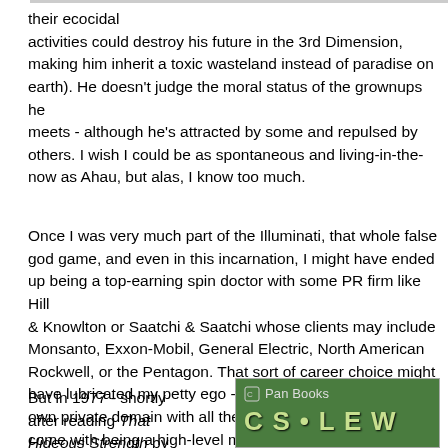their ecocidal activities could destroy his future in the 3rd Dimension, making him inherit a toxic wasteland instead of paradise on earth). He doesn't judge the moral status of the grownups he meets - although he's attracted by some and repulsed by others. I wish I could be as spontaneous and living-in-the-now as Ahau, but alas, I know too much.
Once I was very much part of the Illuminati, that whole false god game, and even in this incarnation, I might have ended up being a top-earning spin doctor with some PR firm like Hill & Knowlton or Saatchi & Saatchi whose clients may include Monsanto, Exxon-Mobil, General Electric, North American Rockwell, or the Pentagon. That sort of career choice might have lubricated my petty ego - made me a little god in my own private domain with all the perks and privileges that come with being a high-level minion of Sauron... oops, I mean Enron!
But in 1977 - shortly after reading That Hideous Strength by
[Figure (photo): Book cover with Pan Books logo at top and green background with large stylized text partially visible]